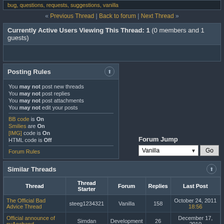bug, questions, requests, suggestions, vanilla
« Previous Thread | Back to forum | Next Thread »
Currently Active Users Viewing This Thread: 1 (0 members and 1 guests)
Posting Rules
You may not post new threads
You may not post replies
You may not post attachments
You may not edit your posts
BB code is On
Smilies are On
[IMG] code is On
HTML code is Off
Forum Rules
Forum Jump
Vanilla | Go
Similar Threads
| Thread | Thread Starter | Forum | Replies | Last Post |
| --- | --- | --- | --- | --- |
| The Official Bad Advice Thread | steeg1234321 | Vanilla | 158 | October 24, 2011 18:56 |
| Official announce of pyAncband | Sirndan | Development | 26 | December 17, 2010 |